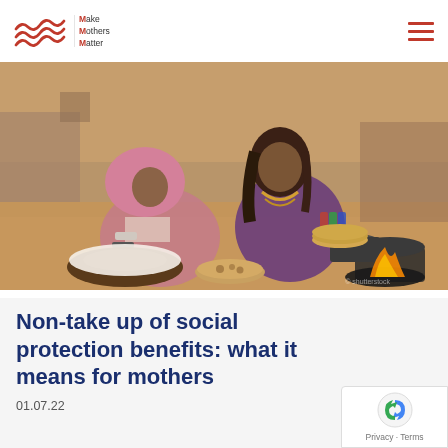Make Mothers Matter
[Figure (photo): Two women in traditional South Asian clothing sitting on the ground outdoors, making flatbread over an open fire. Cooking pots and utensils visible around them.]
Non-take up of social protection benefits: what it means for mothers
01.07.22